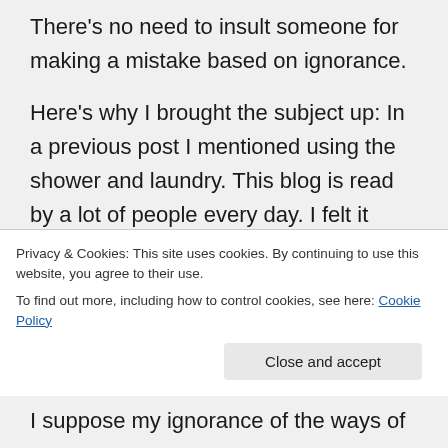There's no need to insult someone for making a mistake based on ignorance.

Here's why I brought the subject up: In a previous post I mentioned using the shower and laundry. This blog is read by a lot of people every day. I felt it necessary to make it obvious, even to those who just scan my posts, that Escapees is not to be used the way I used it. In other words, don't sign up for the sole purpose of convenient
Privacy & Cookies: This site uses cookies. By continuing to use this website, you agree to their use.
To find out more, including how to control cookies, see here: Cookie Policy
I suppose my ignorance of the ways of rv